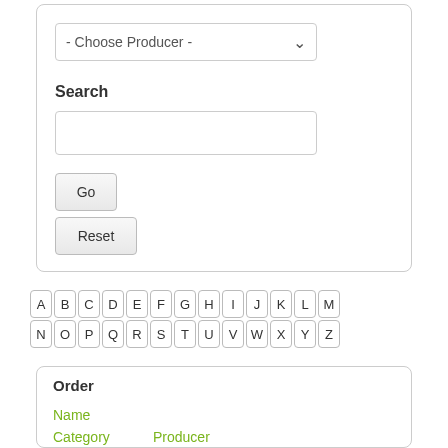- Choose Producer -
Search
Go
Reset
A B C D E F G H I J K L M N O P Q R S T U V W X Y Z
Order
Name
Category
Producer